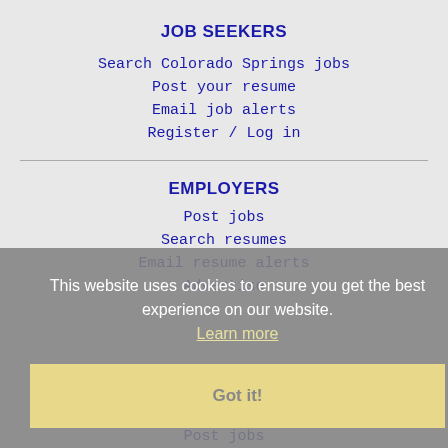JOB SEEKERS
Search Colorado Springs jobs
Post your resume
Email job alerts
Register / Log in
EMPLOYERS
Post jobs
Search resumes
Email resume alerts
Advertise
This website uses cookies to ensure you get the best experience on our website. Learn more
Got it!
IMMIGRATION SPECIALISTS
Post jobs